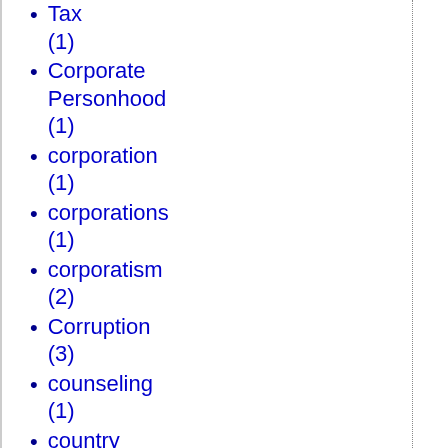Tax (1)
Corporate Personhood (1)
corporation (1)
corporations (1)
corporatism (2)
Corruption (3)
counseling (1)
country (1)
country music (1)
country-blues (3)
country-rock (1)